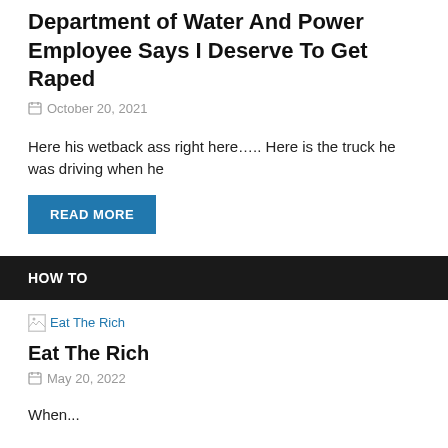Department of Water And Power Employee Says I Deserve To Get Raped
October 20, 2021
Here his wetback ass right here….. Here is the truck he was driving when he
READ MORE
HOW TO
[Figure (other): Broken image placeholder with link text 'Eat The Rich']
Eat The Rich
May 20, 2022
When...